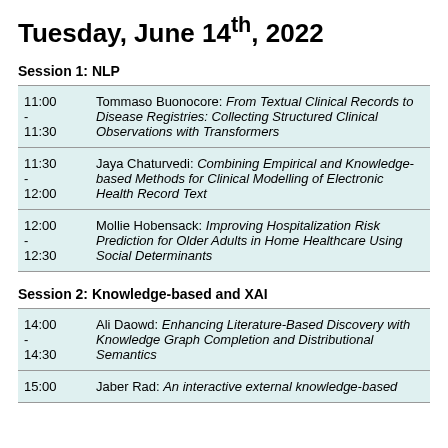Tuesday, June 14th, 2022
Session 1: NLP
| Time | Presentation |
| --- | --- |
| 11:00 - 11:30 | Tommaso Buonocore: From Textual Clinical Records to Disease Registries: Collecting Structured Clinical Observations with Transformers |
| 11:30 - 12:00 | Jaya Chaturvedi: Combining Empirical and Knowledge-based Methods for Clinical Modelling of Electronic Health Record Text |
| 12:00 - 12:30 | Mollie Hobensack: Improving Hospitalization Risk Prediction for Older Adults in Home Healthcare Using Social Determinants |
Session 2: Knowledge-based and XAI
| Time | Presentation |
| --- | --- |
| 14:00 - 14:30 | Ali Daowd: Enhancing Literature-Based Discovery with Knowledge Graph Completion and Distributional Semantics |
| 15:00 - | Jaber Rad: An interactive external knowledge-based |